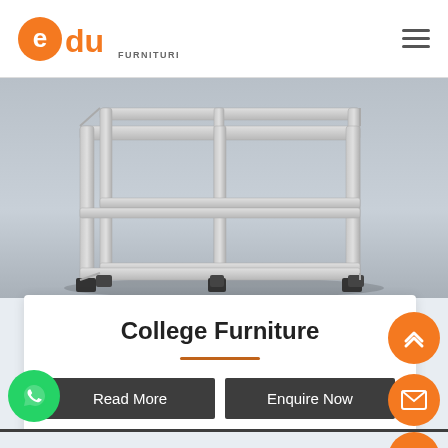edu FURNITURES
[Figure (photo): Metal frame furniture structure (desk/table frame) with gray steel tubes and black feet, shown from below/side angle against a light gray background]
College Furniture
Read More | Enquire Now